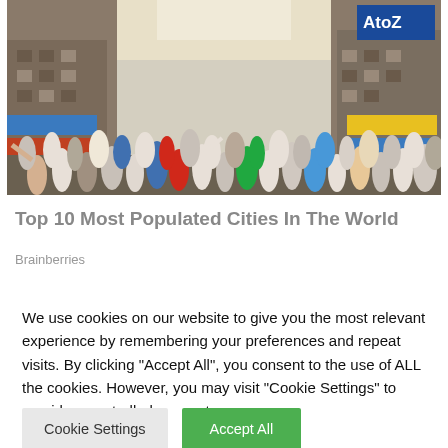[Figure (photo): A densely crowded street scene in an Indian city, with a large crowd of people filling the road, shops and buildings with signs on both sides, including an 'AtoZ' store sign visible in the upper right corner.]
Top 10 Most Populated Cities In The World
Brainberries
We use cookies on our website to give you the most relevant experience by remembering your preferences and repeat visits. By clicking "Accept All", you consent to the use of ALL the cookies. However, you may visit "Cookie Settings" to provide a controlled consent.
Cookie Settings | Accept All